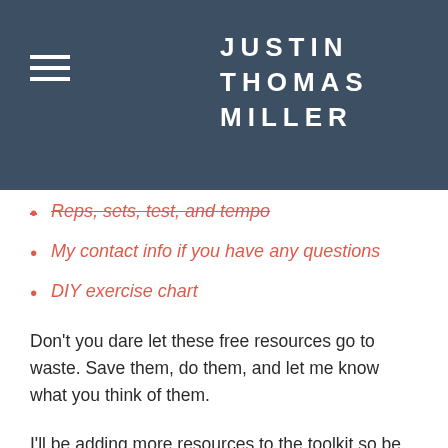JUSTIN THOMAS MILLER
Reps, sets, test, and tempo
My contact info if you have any questions
DIY exercise chart
Don't you dare let these free resources go to waste. Save them, do them, and let me know what you think of them.
I'll be adding more resources to the toolkit so be on the lookout for emails from me letting you know when I
Any workout routines you've tried and really enjoyed? Share in the comments below and